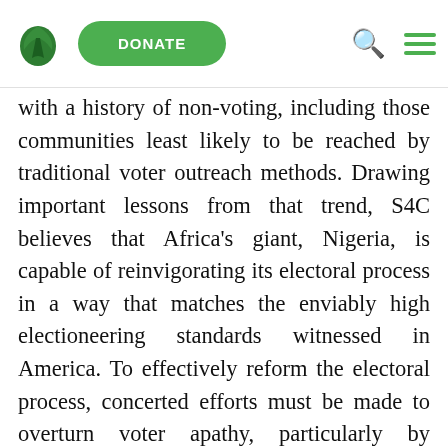DONATE [navigation bar with logo, donate button, search icon, menu icon]
with a history of non-voting, including those communities least likely to be reached by traditional voter outreach methods. Drawing important lessons from that trend, S4C believes that Africa's giant, Nigeria, is capable of reinvigorating its electoral process in a way that matches the enviably high electioneering standards witnessed in America. To effectively reform the electoral process, concerted efforts must be made to overturn voter apathy, particularly by stimulating public interest and participation in the entire electioneering developments: from the selection/emergence of candidates; formulation of political party manifestoes; election campaigns; voting at elections up to the declaration of results.